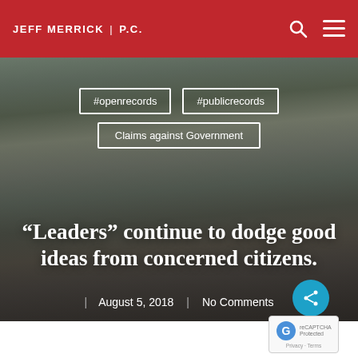JEFF MERRICK | P.C.
[Figure (photo): Panel discussion photo: people seated at a long table in a room with tall windows, used as a hero background image]
#openrecords
#publicrecords
Claims against Government
“Leaders” continue to dodge good ideas from concerned citizens.
August 5, 2018 | No Comments